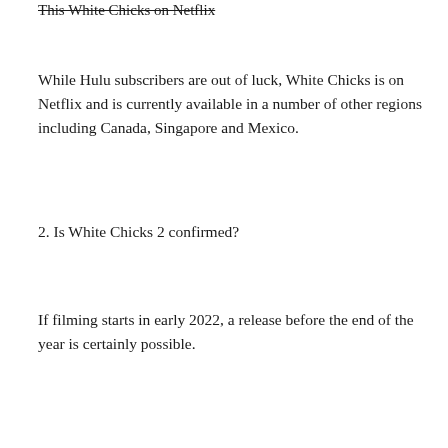This White Chicks on Netflix
While Hulu subscribers are out of luck, White Chicks is on Netflix and is currently available in a number of other regions including Canada, Singapore and Mexico.
2. Is White Chicks 2 confirmed?
If filming starts in early 2022, a release before the end of the year is certainly possible.